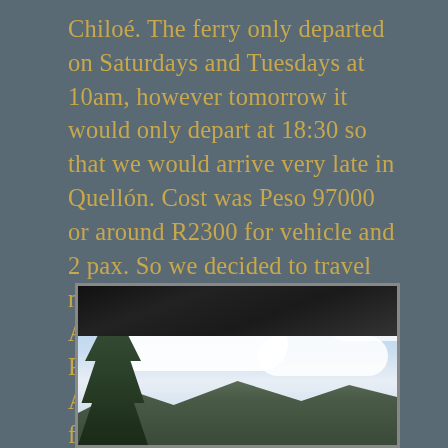Chiloé. The ferry only departed on Saturdays and Tuesdays at 10am, however tomorrow it would only depart at 18:30 so that we would arrive very late in Quellón. Cost was Peso 97000 or around R2300 for vehicle and 2 pax. So we decided to travel northwards on the Carretera Austral to the other Park Pumalin, the Volcanoes section. As before, entrance was still free and we found a spot with a good view of the active Chaiten volcano – our intention was to climb it the next morning.
[Figure (photo): Outdoor photograph taken from under a roof structure showing trees on the left, mountains in the background, and a partly cloudy blue sky. The dark underside of a roof or bridge structure is visible at the top of the frame.]